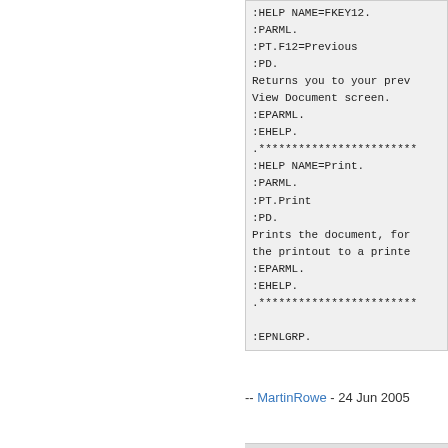:HELP NAME=FKEY12.
:PARML.
:PT.F12=Previous
:PD.
Returns you to your prev
View Document screen.
:EPARML.
:EHELP.
.************************
:HELP NAME=Print.
:PARML.
:PT.Print
:PD.
Prints the document, for
the printout to a printe
:EPARML.
:EHELP.
.************************
:EPNLGRP.
-- MartinRowe - 24 Jun 2005